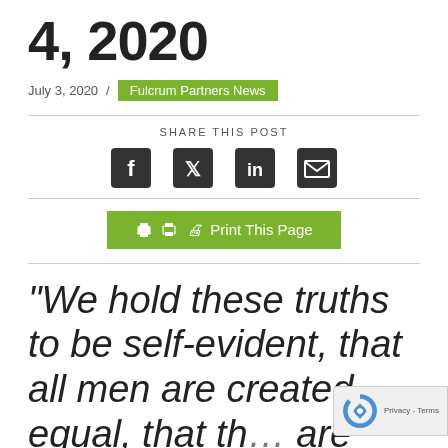4, 2020
July 3, 2020 / Fulcrum Partners News
SHARE THIS POST
[Figure (illustration): Social share icons: Facebook, Twitter, LinkedIn, Email]
Print This Page
“We hold these truths to be self-evident, that all men are created equal, that th are endowed by their